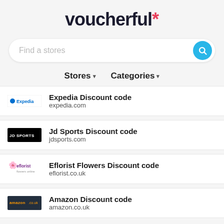voucherful*
[Figure (screenshot): Search bar with placeholder text 'Find a stores' and a blue circular search button]
Stores ▾   Categories ▾
Expedia Discount code
expedia.com
Jd Sports Discount code
jdsports.com
Eflorist Flowers Discount code
eflorist.co.uk
Amazon Discount code
amazon.co.uk